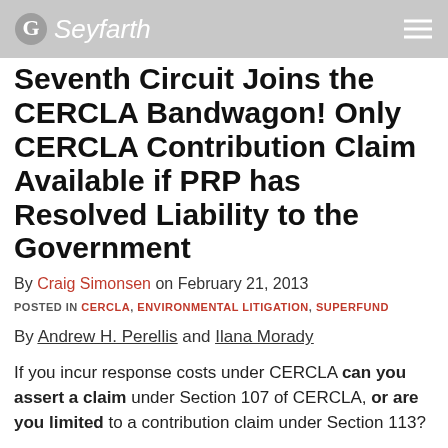Seyfarth
Seventh Circuit Joins the CERCLA Bandwagon! Only CERCLA Contribution Claim Available if PRP has Resolved Liability to the Government
By Craig Simonsen on February 21, 2013
POSTED IN CERCLA, ENVIRONMENTAL LITIGATION, SUPERFUND
By Andrew H. Perellis and Ilana Morady
If you incur response costs under CERCLA can you assert a claim under Section 107 of CERCLA, or are you limited to a contribution claim under Section 113?